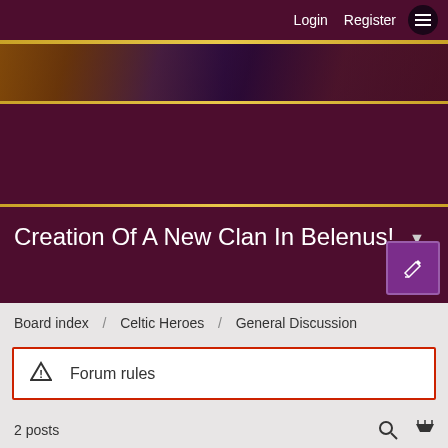Login   Register
[Figure (photo): Gaming forum banner image with fantasy artwork elements]
Creation Of A New Clan In Belenus!
Board index / Celtic Heroes / General Discussion
⚠ Forum rules
2 posts